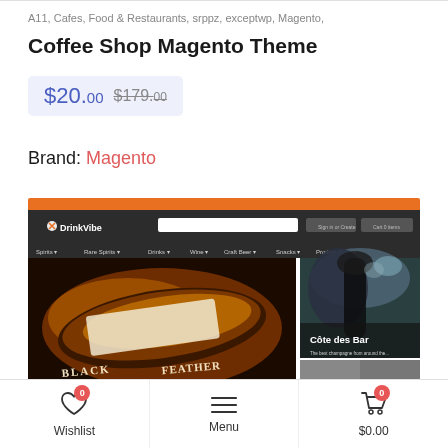A11, Cafes, Food & Restaurants, srppz, exceptwp, Magento,
Coffee Shop Magento Theme
$20.00 $179.00
Brand: Magento
[Figure (screenshot): Screenshot of DrinkVibe Magento theme with orange header bar, dark navigation bar with logo, search box, nav menu items (Spirits, Rare Spirits, Drinks, Wine, Craft Beer, Snacks, Product Type), and hero images showing a Black Feather whiskey bottle on the left and a 'Côte des Bar' champagne image on the right.]
Wishlist 0
Menu
$0.00 0